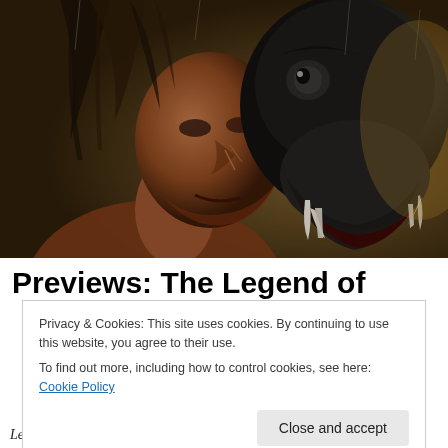[Figure (photo): Movie promotional image showing a shirtless man with long dark hair facing a large black ape/gorilla baring its teeth, dark dramatic lighting with sandy/golden background]
Previews: The Legend of
Privacy & Cookies: This site uses cookies. By continuing to use this website, you agree to their use.
To find out more, including how to control cookies, see here: Cookie Policy
Legend of Tarzan trailer, Teenage Mutant Ninja Turtles: